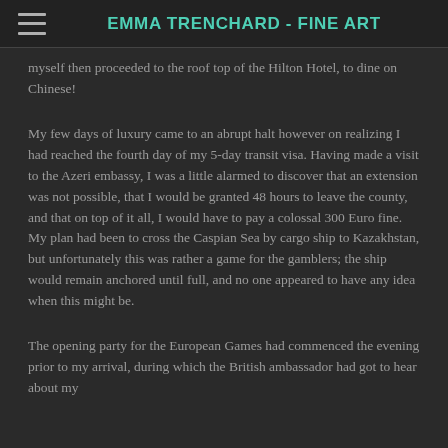EMMA TRENCHARD - FINE ART
myself then proceeded to the roof top of the Hilton Hotel, to dine on Chinese!
My few days of luxury came to an abrupt halt however on realizing I had reached the fourth day of my 5-day transit visa. Having made a visit to the Azeri embassy, I was a little alarmed to discover that an extension was not possible, that I would be granted 48 hours to leave the county, and that on top of it all, I would have to pay a colossal 300 Euro fine. My plan had been to cross the Caspian Sea by cargo ship to Kazakhstan, but unfortunately this was rather a game for the gamblers; the ship would remain anchored until full, and no one appeared to have any idea when this might be.
The opening party for the European Games had commenced the evening prior to my arrival, during which the British ambassador had got to hear about my